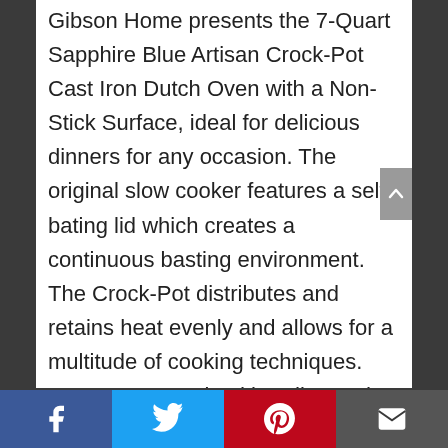Gibson Home presents the 7-Quart Sapphire Blue Artisan Crock-Pot Cast Iron Dutch Oven with a Non-Stick Surface, ideal for delicious dinners for any occasion. The original slow cooker features a self-bating lid which creates a continuous basting environment. The Crock-Pot distributes and retains heat evenly and allows for a multitude of cooking techniques. Generous oversized handles and stainless knobs provide sturdy grip to increase mobility. Cookware works on gas, electric, ceramic, and induction cooktops as well as bake or broil in any convention or conventional oven. Sturdy, rust-free, and easy clean. Hand wash is recommended to
Facebook | Twitter | Pinterest | Email